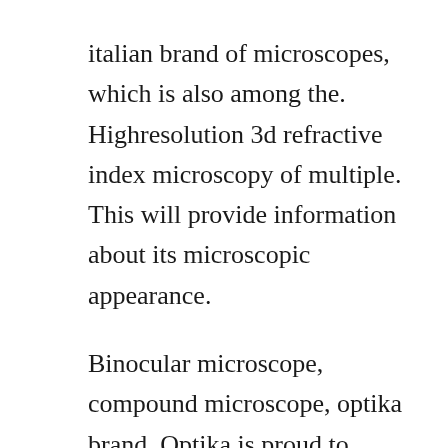italian brand of microscopes, which is also among the. Highresolution 3d refractive index microscopy of multiple. This will provide information about its microscopic appearance.

Binocular microscope, compound microscope, optika brand. Optika is proud to introduce its own revolutionary led powered illumination system. Suitable for routine microscopy with brightfield, darkfield, phase contrast and led fluorescence, designed to last. We use cookies to ensure that we give you the best experience on our website. Catalogue microscopes